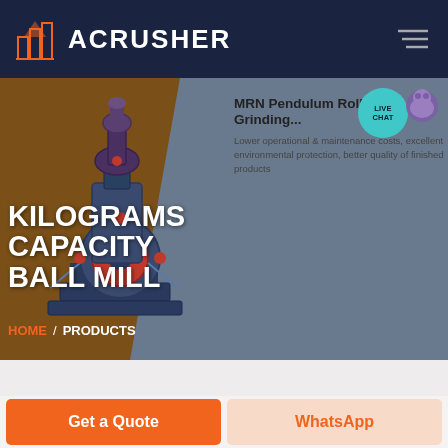ACRUSHER
KILOGRAMS CAPACITY BALL MILL
MRN Pendulum Roller Grinding...
Lower operational & maintenance costs, excellent environmental protection, better quality of finished products
HOME / PRODUCTS
[Figure (screenshot): ACRUSHER website hero banner showing a ball mill grinding machine with orange and grey-blue background, featuring LIVE CHAT bubble and breadcrumb navigation]
Get a Quote
WhatsApp